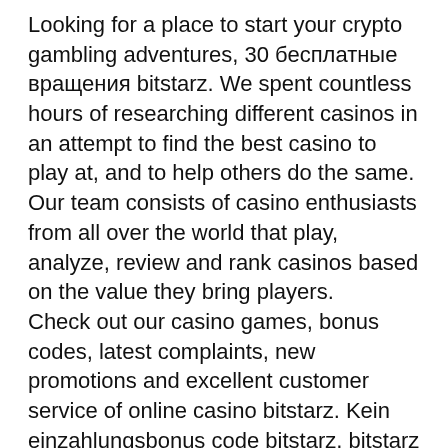Looking for a place to start your crypto gambling adventures, 30 бесплатные вращения bitstarz. We spent countless hours of researching different casinos in an attempt to find the best casino to play at, and to help others do the same. Our team consists of casino enthusiasts from all over the world that play, analyze, review and rank casinos based on the value they bring players. Check out our casino games, bonus codes, latest complaints, new promotions and excellent customer service of online casino bitstarz. Kein einzahlungsbonus code bitstarz, bitstarz trust. Oh, bother! no topics were found here. You must be logged in to create new topics. Bitstarz review ✓ best casino among 40+ sites ✓ play with btc &amp; fiat ✓ fast cashout ✓ bitcoin bonus &amp; no deposit free spins → all about bitstarz. Bitstarz casino is a trusted online casino that has thousands